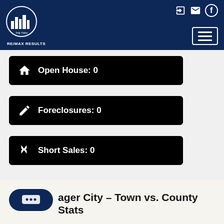RE/MAX Results - The Twin Cities Team
Open House: 0
Foreclosures: 0
Short Sales: 0
ager City – Town vs. County Stats